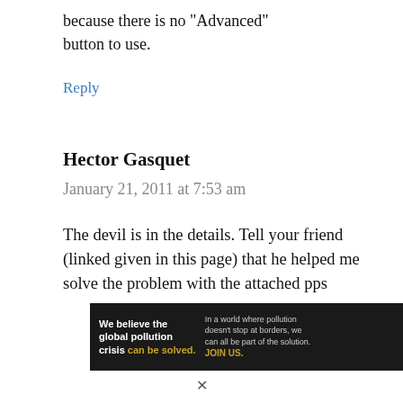because there is no "Advanced" button to use.
Reply
Hector Gasquet
January 21, 2011 at 7:53 am
The devil is in the details. Tell your friend (linked given in this page) that he helped me solve the problem with the attached pps
[Figure (infographic): Pure Earth advertisement banner: dark background panel with text 'We believe the global pollution crisis can be solved.' and 'In a world where pollution doesn't stop at borders, we can all be part of the solution. JOIN US.' with Pure Earth logo on white panel.]